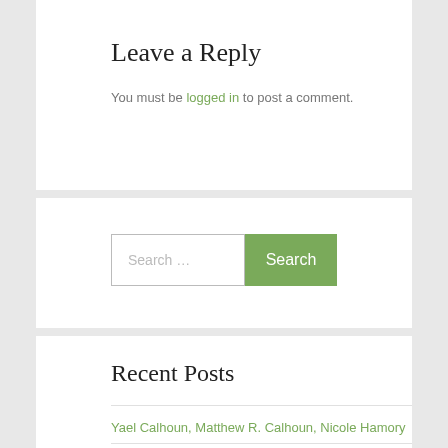Leave a Reply
You must be logged in to post a comment.
Search …
Recent Posts
Yael Calhoun, Matthew R. Calhoun, Nicole Hamory
Achenblog
Callisthenics Synonyms & Antonyms